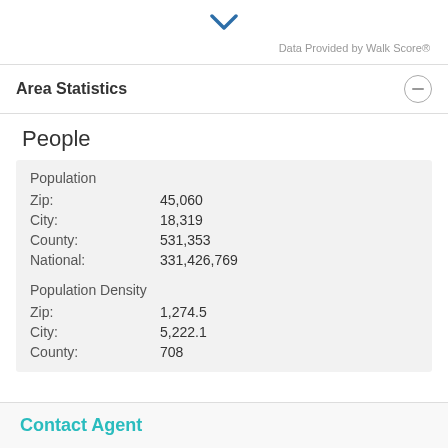[Figure (other): Blue downward chevron icon]
Data Provided by Walk Score®
Area Statistics
People
| Population |  |
| Zip: | 45,060 |
| City: | 18,319 |
| County: | 531,353 |
| National: | 331,426,769 |
| Population Density |  |
| Zip: | 1,274.5 |
| City: | 5,222.1 |
| County: | 708 |
Contact Agent